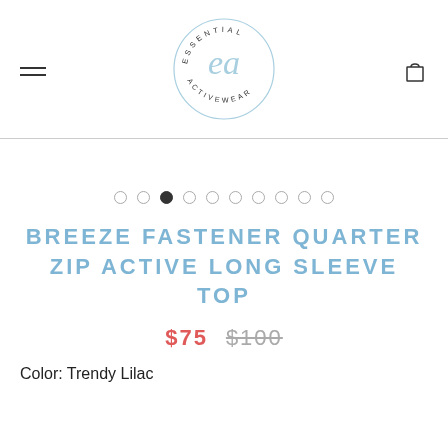Essential Activewear — navigation header with logo
[Figure (logo): Essential Activewear circular logo with cursive 'ea' in the center and 'ESSENTIAL ACTIVEWEAR' text around the circle in light blue]
[Figure (other): Carousel pagination dots — 10 dots, third one filled/active]
BREEZE FASTENER QUARTER ZIP ACTIVE LONG SLEEVE TOP
$75  $100
Color: Trendy Lilac